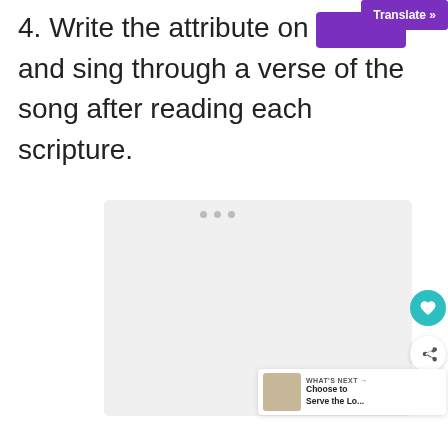4. Write the attribute on a paper and sing through a verse of the song after reading each scripture.
[Figure (other): A light grey rectangular placeholder image area]
WHAT'S NEXT → Choose to Serve the Lo...